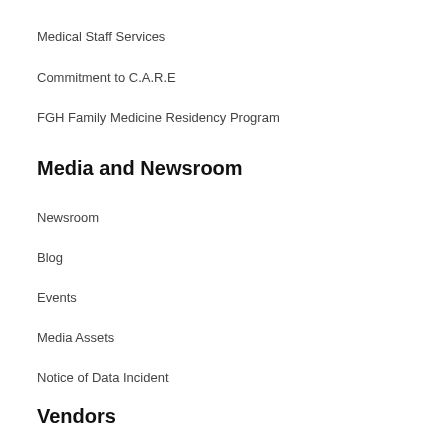Medical Staff Services
Commitment to C.A.R.E
FGH Family Medicine Residency Program
Media and Newsroom
Newsroom
Blog
Events
Media Assets
Notice of Data Incident
Vendors
Vendor Registration